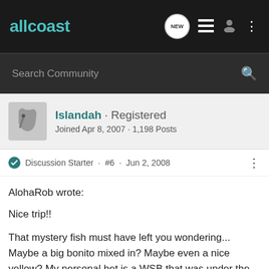allcoast
Search Community
Islandah · Registered
Joined Apr 8, 2007 · 1,198 Posts
Discussion Starter · #6 · Jun 2, 2008
AlohaRob wrote:

Nice trip!!

That mystery fish must have left you wondering... Maybe a big bonito mixed in? Maybe even a nice yellow? My personal bet is a WSB that was under the cuda...

Good fu
[Figure (screenshot): Advertisement banner: photo of people at shooting range on left, red background on right with text YOUR NEW FAVORITE SPORT, EXPLORE HOW TO RESPONSIBLY PARTICIPATE IN THE SHOOTING SPORTS. START HERE!]